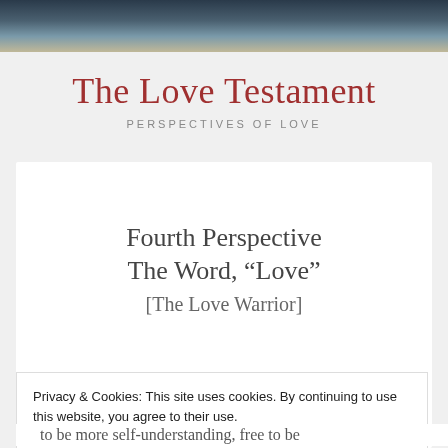[Figure (photo): Aerial or landscape photo of a beach/shoreline with water and sand, cropped at top]
The Love Testament
PERSPECTIVES OF LOVE
Fourth Perspective
The Word, “Love”
[The Love Warrior]
1. “Say the word and you’ll be free” (Lennon: “The
Privacy & Cookies: This site uses cookies. By continuing to use this website, you agree to their use.
To find out more, including how to control cookies, see here: Cookie Policy
Close and accept
to be more self-understanding, free to be